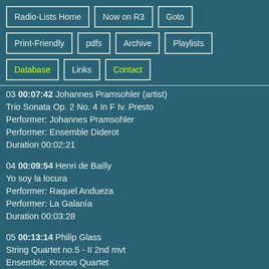Radio-Lists Home
Now on R3
Goto
Print-Friendly
pdfs
Archive
Playlists
Database
Links
Contact
03 00:07:42 Johannes Pramsohler (artist)
Trio Sonata Op. 2 No. 4 In F Iv. Presto
Performer: Johannes Pramsohler
Performer: Ensemble Diderot
Duration 00:02:21
04 00:09:54 Henri de Bailly
Yo soy la locura
Performer: Raquel Andueza
Performer: La Galanía
Duration 00:03:28
05 00:13:14 Philip Glass
String Quartet no.5 - II 2nd mvt
Ensemble: Kronos Quartet
Duration 00:02:59